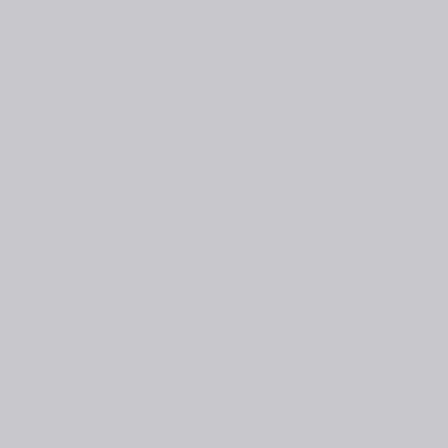a me I'm in the mo Sh it. Th me us co wit a wh bu of rul or